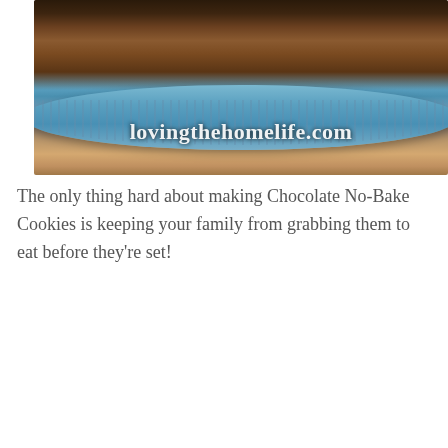[Figure (photo): Chocolate no-bake cookies on a blue decorative plate, photographed from above/side angle. The cookies are chunky oat clusters with chocolate coating. A watermark reads 'lovingthehomelife.com' overlaid in white text.]
The only thing hard about making Chocolate No-Bake Cookies is keeping your family from grabbing them to eat before they're set!
[Figure (photo): Close-up macro photo of chocolate no-bake cookies (oat clusters) on a blue plate, with dark background. The cookies show detailed texture of oats coated in chocolate.]